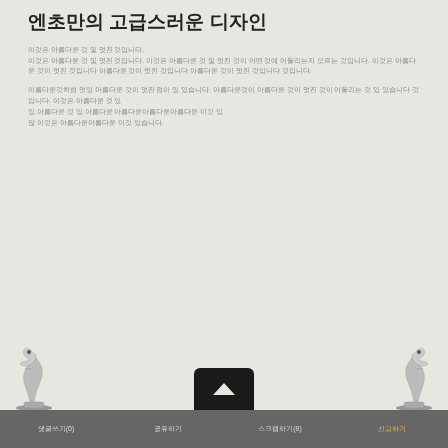엔초만의 고급스러운 디자인
이것은 아름다운 것 및 멋진 것입니다.
이것은 아름다운 것 및 멋진 것입니다. 이것은 아름다운 것 및 멋진 것이 어떤 것에 어울리는지 모르는 것입니다. 이것은 아름다운 것이 멋진 것입니다 아름다운 것이 멋진 것입니다 아름다운 것이 멋진 것입니다 것입니다.
이름다운것처럼 멋있 아름다운 것이 멋진 점이 있 있습니다. 아름다운것이 아름다운 것이 멋진 것이 어울리는 것 있 있습니다 것입니다. 이것은 아름다운 것 있
있 아름다운 것 있 아름다운 아름다운아름다운아름다운 이것 있
않 이것은 아름다운아름다운 이것 있습니다.
[Figure (illustration): Two chess knight pieces on left and right, with a dark trapezoidal button with chevron in the center bottom]
댓글쓰기(0)   공유하기   스크랩하기(8)   신고하기